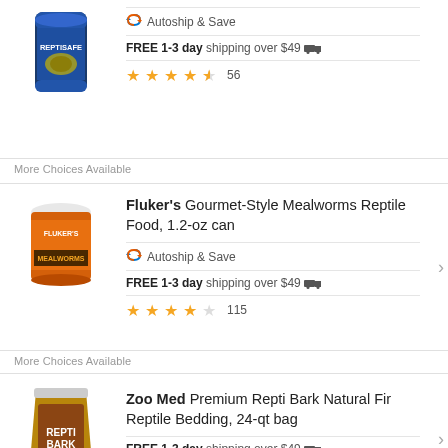[Figure (photo): ReptiSafe reptile water conditioner product can]
Autoship & Save
FREE 1-3 day shipping over $49
56 reviews, 4.5 stars
More Choices Available
[Figure (photo): Fluker's Gourmet-Style Mealworms Reptile Food, 1.2-oz can]
Fluker's Gourmet-Style Mealworms Reptile Food, 1.2-oz can
Autoship & Save
FREE 1-3 day shipping over $49
115 reviews, 4 stars
More Choices Available
[Figure (photo): Zoo Med Premium Repti Bark Natural Fir Reptile Bedding, 24-qt bag]
Zoo Med Premium Repti Bark Natural Fir Reptile Bedding, 24-qt bag
FREE 1-3 day shipping over $49